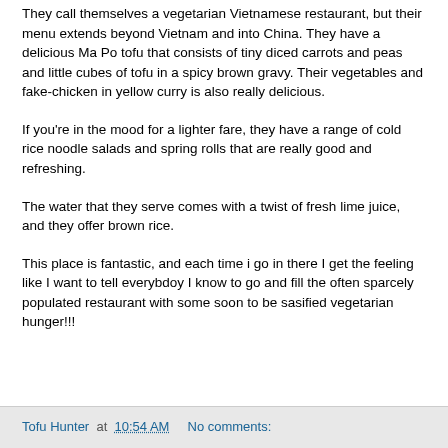They call themselves a vegetarian Vietnamese restaurant, but their menu extends beyond Vietnam and into China. They have a delicious Ma Po tofu that consists of tiny diced carrots and peas and little cubes of tofu in a spicy brown gravy. Their vegetables and fake-chicken in yellow curry is also really delicious.
If you're in the mood for a lighter fare, they have a range of cold rice noodle salads and spring rolls that are really good and refreshing.
The water that they serve comes with a twist of fresh lime juice, and they offer brown rice.
This place is fantastic, and each time i go in there I get the feeling like I want to tell everybdoy I know to go and fill the often sparcely populated restaurant with some soon to be sasified vegetarian hunger!!!
Tofu Hunter at 10:54 AM   No comments: